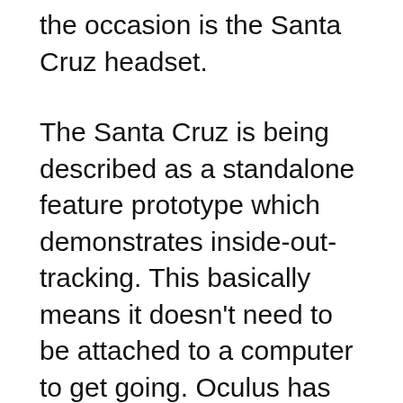the occasion is the Santa Cruz headset.
The Santa Cruz is being described as a standalone feature prototype which demonstrates inside-out-tracking. This basically means it doesn't need to be attached to a computer to get going. Oculus has so far produced two types of VR headsets namely the PC-dependent Rift and phone-reliant wireless Samsung Gear VR.
The new Santa Cruz device would essentially bridge the gap between the two, according to a Rift in a new...